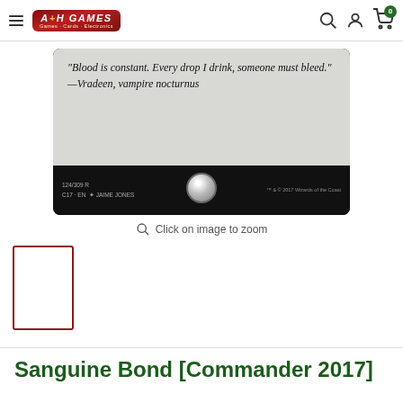A+H Games — Games · Cards · Electronics
[Figure (photo): Bottom portion of a Magic: The Gathering card 'Sanguine Bond' showing flavor text: 'Blood is constant. Every drop I drink, someone must bleed.' —Vredeen, vampire nocturnus. Card number 124/309 R, C17 EN, art by Jaime Jones, TM & © 2017 Wizards of the Coast.]
Click on image to zoom
[Figure (photo): Small thumbnail image of the Sanguine Bond card with dark red border]
Sanguine Bond [Commander 2017]